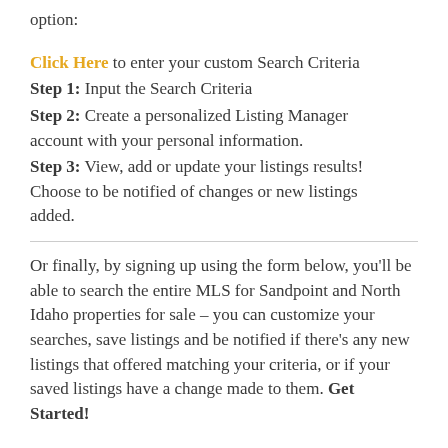option:
Click Here to enter your custom Search Criteria
Step 1: Input the Search Criteria
Step 2: Create a personalized Listing Manager account with your personal information.
Step 3: View, add or update your listings results! Choose to be notified of changes or new listings added.
Or finally, by signing up using the form below, you'll be able to search the entire MLS for Sandpoint and North Idaho properties for sale – you can customize your searches, save listings and be notified if there's any new listings that offered matching your criteria, or if your saved listings have a change made to them. Get Started!